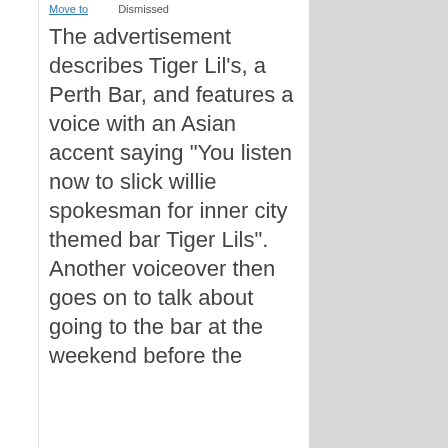The advertisement describes Tiger Lil's, a Perth Bar, and features a voice with an Asian accent saying "You listen now to slick willie spokesman for inner city themed bar Tiger Lils". Another voiceover then goes on to talk about going to the bar at the weekend before the